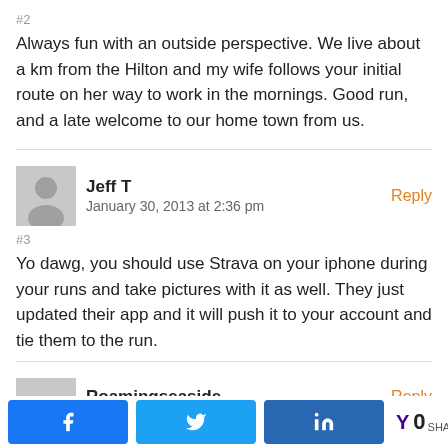#2
Always fun with an outside perspective. We live about a km from the Hilton and my wife follows your initial route on her way to work in the mornings. Good run, and a late welcome to our home town from us.
Jeff T
January 30, 2013 at 2:36 pm
#3
Yo dawg, you should use Strava on your iphone during your runs and take pictures with it as well. They just updated their app and it will push it to your account and tie them to the run.
Roamingseaside